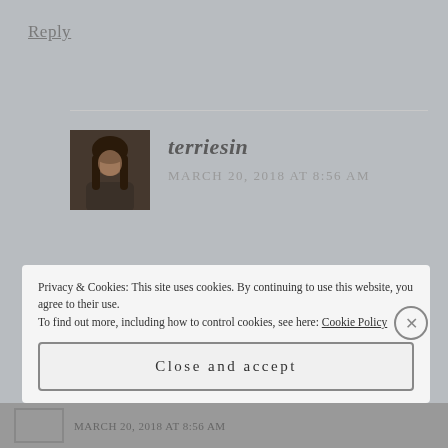Reply
terriesin
MARCH 20, 2018 AT 8:56 AM
Thanks, I'll have to look that one up!
Privacy & Cookies: This site uses cookies. By continuing to use this website, you agree to their use.
To find out more, including how to control cookies, see here: Cookie Policy
Close and accept